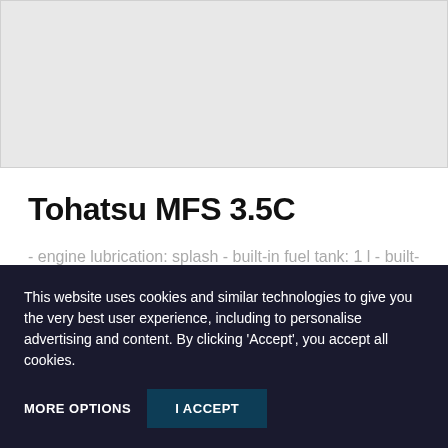[Figure (photo): Product image placeholder area (light gray background)]
Tohatsu MFS 3.5C
- engine lubrication: splash - built-in fuel tank: 1 l - built-in thermostat - reverse gear: neutral and forward - 360 degree rotation - 3-way storage positions without worrying about oil...
This website uses cookies and similar technologies to give you the very best user experience, including to personalise advertising and content. By clicking 'Accept', you accept all cookies.
MORE OPTIONS
I ACCEPT